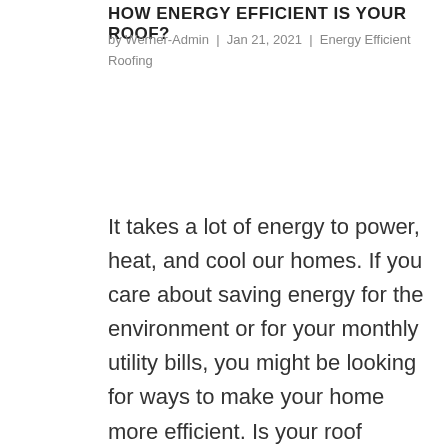HOW ENERGY EFFICIENT IS YOUR ROOF?
by Werner-Admin | Jan 21, 2021 | Energy Efficient Roofing
It takes a lot of energy to power, heat, and cool our homes. If you care about saving energy for the environment or for your monthly utility bills, you might be looking for ways to make your home more efficient. Is your roof helping you reach your efficiency goals? Let’s evaluate how energy efficient your roof is.